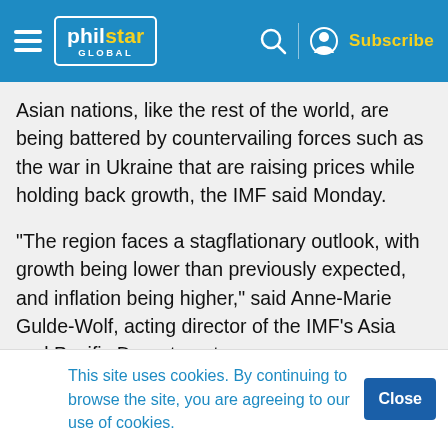philstar GLOBAL — Subscribe
Asian nations, like the rest of the world, are being battered by countervailing forces such as the war in Ukraine that are raising prices while holding back growth, the IMF said Monday.
"The region faces a stagflationary outlook, with growth being lower than previously expected, and inflation being higher," said Anne-Marie Gulde-Wolf, acting director of the IMF's Asia and Pacific Department.
T
E
C
This site uses cookies. By continuing to browse the site, you are agreeing to our use of cookies.